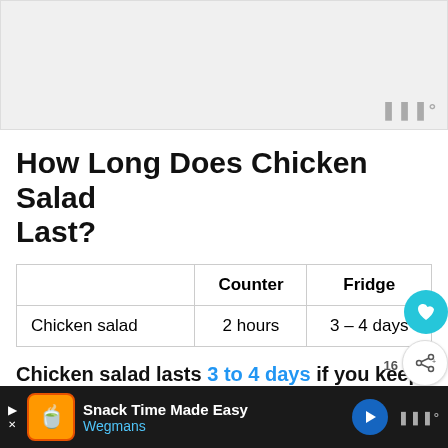[Figure (other): Top image placeholder area with watermark logo (W°) in bottom-right corner]
How Long Does Chicken Salad Last?
|  | Counter | Fridge |
| --- | --- | --- |
| Chicken salad | 2 hours | 3 – 4 days |
Chicken salad lasts 3 to 4 days if you keep it refrigerated and in a sealed con...
And if it's unrefrigerated for longer than two ho...
Snack Time Made Easy Wegmans (advertisement)